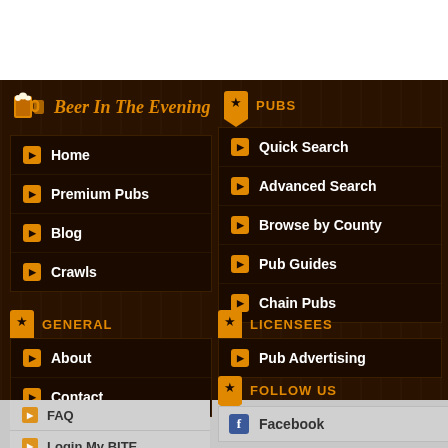Beer In The Evening
Home
Premium Pubs
Blog
Crawls
PUBS
Quick Search
Advanced Search
Browse by County
Pub Guides
Chain Pubs
GENERAL
LICENSEES
About
Contact
Pub Advertising
FOLLOW US
FAQ
Login My BITE
Facebook